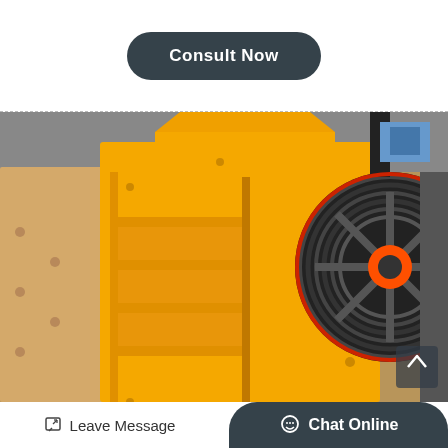[Figure (other): Dark rounded rectangle button labeled 'Consult Now' in white bold text on a dark slate background]
[Figure (photo): Close-up photo of a yellow jaw crusher machine in an industrial factory setting, showing ribbed structure and large black flywheel/pulley on the right side]
Leave Message
Chat Online